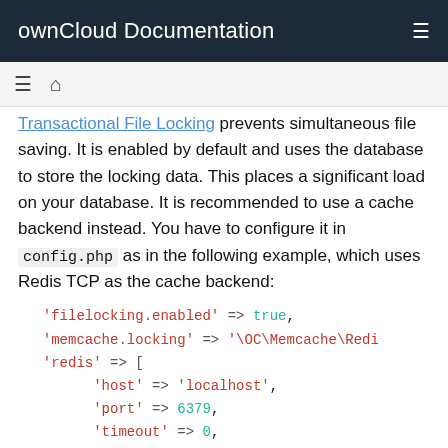ownCloud Documentation
Transactional File Locking prevents simultaneous file saving. It is enabled by default and uses the database to store the locking data. This places a significant load on your database. It is recommended to use a cache backend instead. You have to configure it in config.php as in the following example, which uses Redis TCP as the cache backend:
'filelocking.enabled' => true,
  'memcache.locking' => '\OC\Memcache\Redi
  'redis' => [
        'host' => 'localhost',
        'port' => 6379,
        'timeout' => 0,